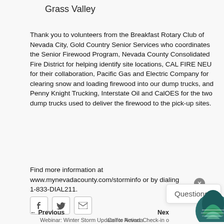Grass Valley
Thank you to volunteers from the Breakfast Rotary Club of Nevada City, Gold Country Senior Services who coordinates the Senior Firewood Program, Nevada County Consolidated Fire District for helping identify site locations, CAL FIRE NEU for their collaboration, Pacific Gas and Electric Company for clearing snow and loading firewood into our dump trucks, and Penny Knight Trucking, Interstate Oil and CalOES for the two dump trucks used to deliver the firewood to the pick-up sites.
Find more information at www.mynevadacounty.com/storminfo or by dialing 1-833-DIAL211.
Questions?
← Previous
Webinar: Winter Storm Update for Nevada County
Next
Call to Action: Check-in on Neighbors Without Power and Help Report Unmet